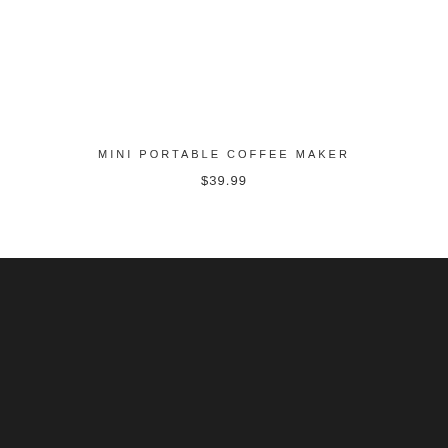MINI PORTABLE COFFEE MAKER
$39.99
ABOUT CITRUS ARROW COFFEE
Come see us. We're rude, crude, and ill-mannered. And those are our GOOD qualities! #whatdoyouwant? #stopbotheringme
[Figure (other): Social media icons: Twitter, Instagram, YouTube, TikTok]